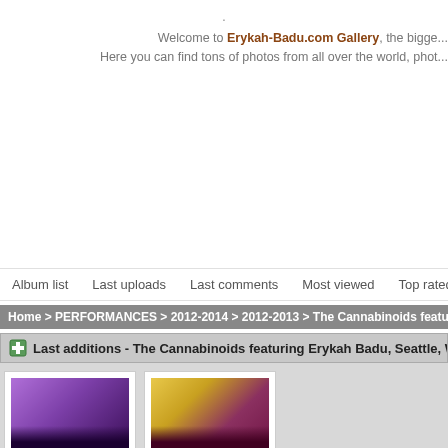.
Welcome to Erykah-Badu.com Gallery, the bigge... Here you can find tons of photos from all over the world, phot...
Album list   Last uploads   Last comments   Most viewed   Top rated   My Fa...
Home > PERFORMANCES > 2012-2014 > 2012-2013 > The Cannabinoids featurin...
Last additions - The Cannabinoids featuring Erykah Badu, Seattle, Washingto...
[Figure (photo): Photo thumbnail 1 - purple stage lighting concert photo]
[Figure (photo): Photo thumbnail 2 - yellow/maroon diamond pattern concert photo]